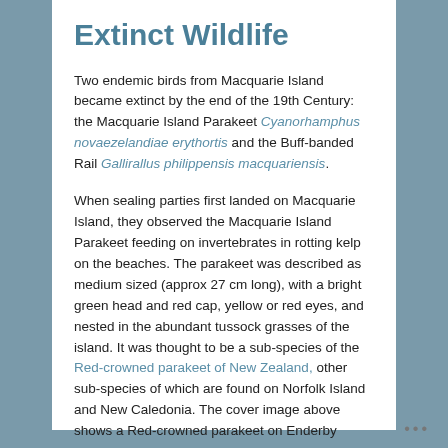Extinct Wildlife
Two endemic birds from Macquarie Island became extinct by the end of the 19th Century: the Macquarie Island Parakeet Cyanorhamphus novaezelandiae erythortis and the Buff-banded Rail Gallirallus philippensis macquariensis.
When sealing parties first landed on Macquarie Island, they observed the Macquarie Island Parakeet feeding on invertebrates in rotting kelp on the beaches. The parakeet was described as medium sized (approx 27 cm long), with a bright green head and red cap, yellow or red eyes, and nested in the abundant tussock grasses of the island. It was thought to be a sub-species of the Red-crowned parakeet of New Zealand, other sub-species of which are found on Norfolk Island and New Caledonia. The cover image above shows a Red-crowned parakeet on Enderby
•••